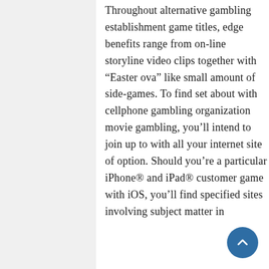Throughout alternative gambling establishment game titles, edge benefits range from on-line storyline video clips together with “Easter ova” like small amount of side-games. To find set about with cellphone gambling organization movie gambling, you’ll intend to join up to with all your internet site of option. Should you’re a particular iPhone® and iPad® customer game with iOS, you’ll find specified sites involving subject matter in